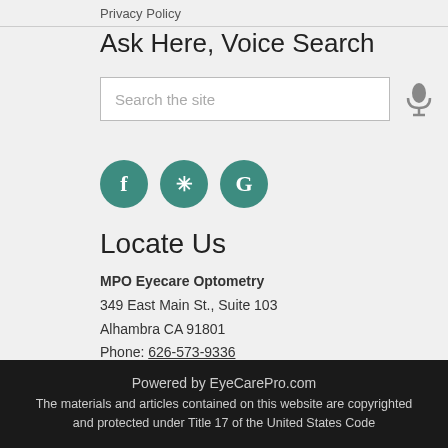Privacy Policy
Ask Here, Voice Search
Search the site
[Figure (illustration): Three social media icons: Facebook (f), Yelp (asterisk/flower), Google (G) — all in teal/dark-green circles]
Locate Us
MPO Eyecare Optometry
349 East Main St., Suite 103
Alhambra CA 91801
Phone: 626-573-9336
Powered by EyeCarePro.com
The materials and articles contained on this website are copyrighted and protected under Title 17 of the United States Code